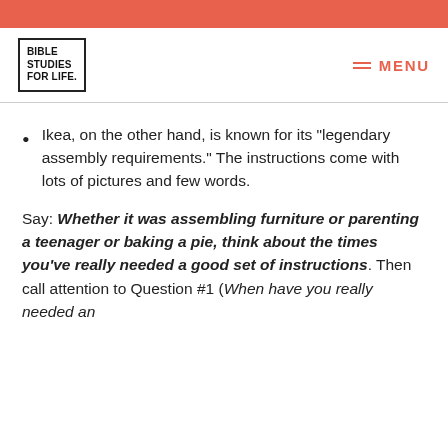BIBLE STUDIES FOR LIFE. MENU
Ikea, on the other hand, is known for its “legendary assembly requirements.” The instructions come with lots of pictures and few words.
Say: Whether it was assembling furniture or parenting a teenager or baking a pie, think about the times you’ve really needed a good set of instructions. Then call attention to Question #1 (When have you really needed an